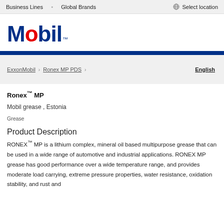Business Lines · Global Brands · Select location
ExxonMobil > Ronex MP PDS > English
Ronex™ MP
Mobil grease , Estonia
Grease
Product Description
RONEX™ MP is a lithium complex, mineral oil based multipurpose grease that can be used in a wide range of automotive and industrial applications. RONEX MP grease has good performance over a wide temperature range, and provides moderate load carrying, extreme pressure properties, water resistance, oxidation stability, and rust and corrosion protection. It is NLGI GC-LB qualified for automotive wheel bearing and chassis applications.